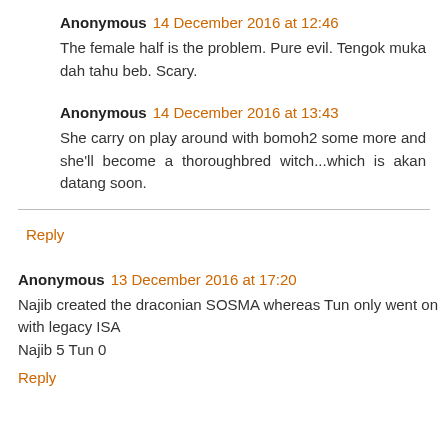Anonymous 14 December 2016 at 12:46
The female half is the problem. Pure evil. Tengok muka dah tahu beb. Scary.
Anonymous 14 December 2016 at 13:43
She carry on play around with bomoh2 some more and she'll become a thoroughbred witch...which is akan datang soon.
Reply
Anonymous 13 December 2016 at 17:20
Najib created the draconian SOSMA whereas Tun only went on with legacy ISA
Najib 5 Tun 0
Reply